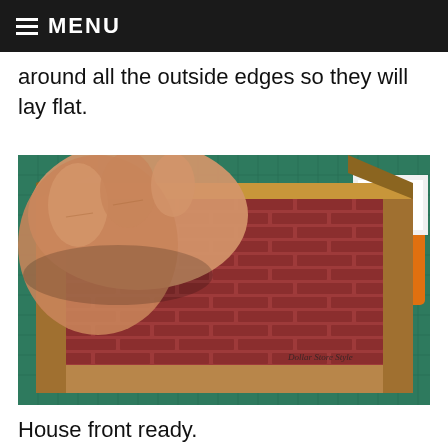MENU
around all the outside edges so they will lay flat.
[Figure (photo): A hand holding a cardboard box front lined with brick-patterned paper inside, showing a miniature house front being constructed. An orange cup and green cutting mat are visible in the background. A handwritten watermark reads 'Dollar Store Style'.]
House front ready.